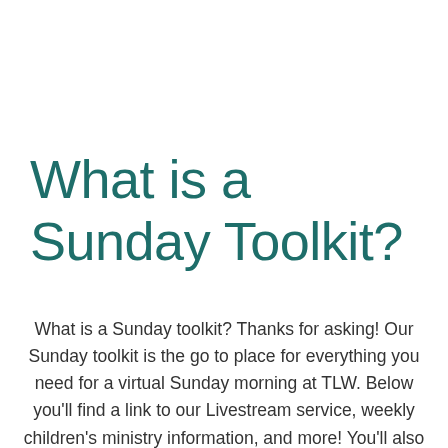What is a Sunday Toolkit?
What is a Sunday toolkit? Thanks for asking! Our Sunday toolkit is the go to place for everything you need for a virtual Sunday morning at TLW. Below you'll find a link to our Livestream service, weekly children's ministry information, and more! You'll also find a copy of our Weekly, which will give you all the information you need for upcoming connection opportunities. Finally there is a link to our “Joy Box” is which our way